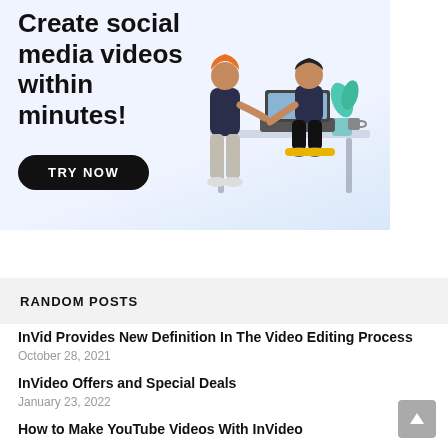[Figure (illustration): Advertisement banner showing two people at a desk with a laptop, a plant in the background, on a light blue gradient background. Text reads 'Create social media videos within minutes!' with a black 'TRY NOW' button.]
RANDOM POSTS
InVid Provides New Definition In The Video Editing Process
October 28, 2021
InVideo Offers and Special Deals
January 23, 2022
How to Make YouTube Videos With InVideo